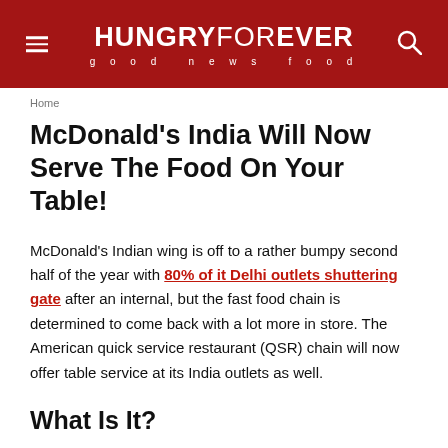HUNGRY FOREVER good news food
Home
McDonald's India Will Now Serve The Food On Your Table!
McDonald's Indian wing is off to a rather bumpy second half of the year with 80% of it Delhi outlets shuttering gate after an internal, but the fast food chain is determined to come back with a lot more in store. The American quick service restaurant (QSR) chain will now offer table service at its India outlets as well.
What Is It?